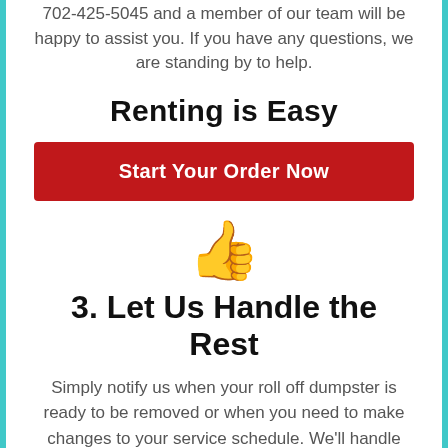702-425-5045 and a member of our team will be happy to assist you. If you have any questions, we are standing by to help.
Renting is Easy
[Figure (other): Red call-to-action button with white text reading 'Start Your Order Now']
[Figure (other): Thumbs up emoji icon in black]
3. Let Us Handle the Rest
Simply notify us when your roll off dumpster is ready to be removed or when you need to make changes to your service schedule. We'll handle the